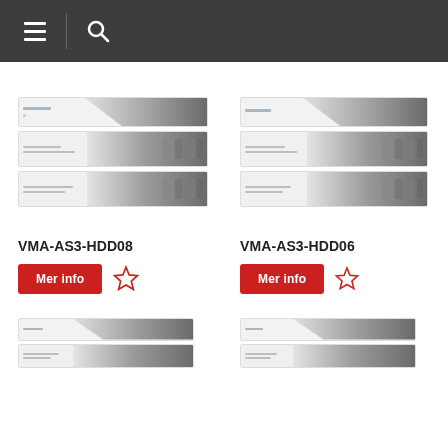[Figure (screenshot): Navigation bar with hamburger menu icon and search icon on dark grey background]
[Figure (photo): Product image of VMA-AS3-HDD08 showing stacked rack-mount HDD units]
VMA-AS3-HDD08
Mer info
[Figure (photo): Product image of VMA-AS3-HDD06 showing stacked rack-mount HDD units]
VMA-AS3-HDD06
Mer info
[Figure (photo): Partial product image at bottom left, cropped]
[Figure (photo): Partial product image at bottom right, cropped]